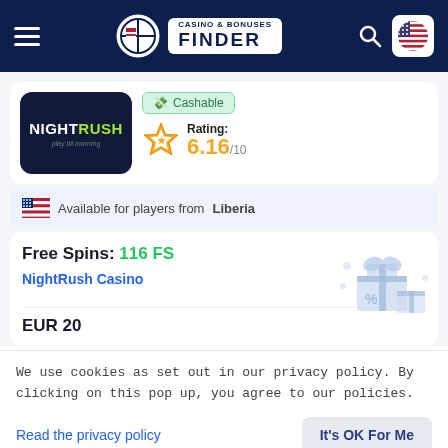Casino & Bonuses Finder
[Figure (logo): NightRush casino logo, dark navy background with NIGHTRUSH text in white and green, tagline 'play till morning']
Cashable
Rating: 6.16/10
Available for players from Liberia
Free Spins: 116 FS
NightRush Casino
EUR 20
We use cookies as set out in our privacy policy. By clicking on this pop up, you agree to our policies.
Read the privacy policy
It's OK For Me